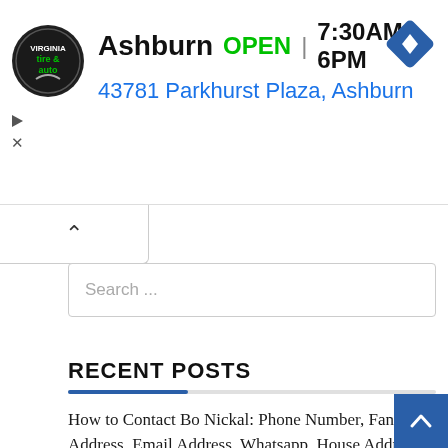[Figure (screenshot): Advertisement banner for Virginia Tire & Auto in Ashburn. Shows circular logo, business name 'Ashburn', 'OPEN' in green, hours '7:30AM–6PM', address '43781 Parkhurst Plaza, Ashburn' in blue, and a blue navigation diamond icon. Ad play and close controls on the left.]
[Figure (screenshot): Web UI element: a collapsible tab/dropdown area with an upward-pointing caret icon, and a search input field with placeholder text 'Search ...']
RECENT POSTS
How to Contact Bo Nickal: Phone Number, Fanmail Address, Email Address, Whatsapp, House Address
How to Contact Sweatcicle: Phone Number, Fanmail Address, Email Address, Whatsapp, House Address
How to Contact Luke TheNotable: Phone Number, Fanmail Address, Email Address, Whatsapp, House Address